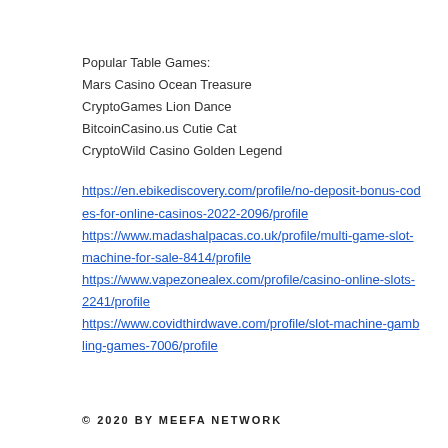Popular Table Games:
Mars Casino Ocean Treasure
CryptoGames Lion Dance
BitcoinCasino.us Cutie Cat
CryptoWild Casino Golden Legend
https://en.ebikediscovery.com/profile/no-deposit-bonus-codes-for-online-casinos-2022-2096/profile
https://www.madashalpacas.co.uk/profile/multi-game-slot-machine-for-sale-8414/profile
https://www.vapezonealex.com/profile/casino-online-slots-2241/profile
https://www.covidthirdwave.com/profile/slot-machine-gambling-games-7006/profile
© 2020 BY MEEFA NETWORK